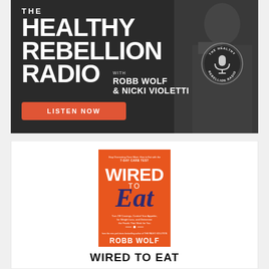[Figure (illustration): The Healthy Rebellion Radio podcast banner with hosts Robb Wolf and Nicki Violetti. Dark background with bold white text and orange LISTEN NOW button.]
[Figure (illustration): Book cover for 'Wired to Eat' by Robb Wolf on an orange background, shown inside a white card.]
WIRED TO EAT